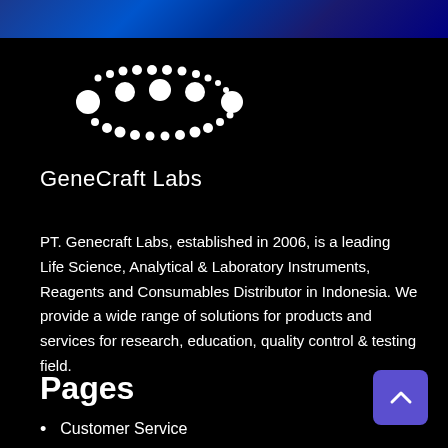[Figure (logo): GeneCraft Labs logo with white dots arranged in an arc/DNA pattern above the text 'GeneCraft Labs']
PT. Genecraft Labs, established in 2006, is a leading Life Science, Analytical & Laboratory Instruments, Reagents and Consumables Distributor in Indonesia. We provide a wide range of solutions for products and services for research, education, quality control & testing field.
Pages
Customer Service
About Us
Career